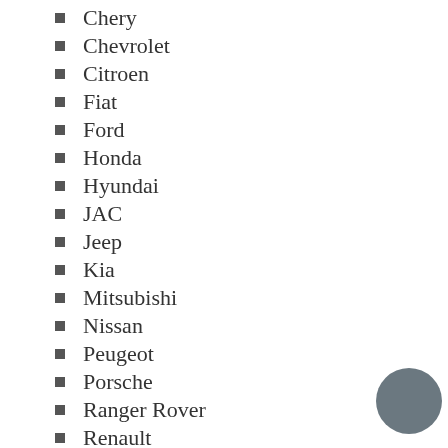Chery
Chevrolet
Citroen
Fiat
Ford
Honda
Hyundai
JAC
Jeep
Kia
Mitsubishi
Nissan
Peugeot
Porsche
Ranger Rover
Renault